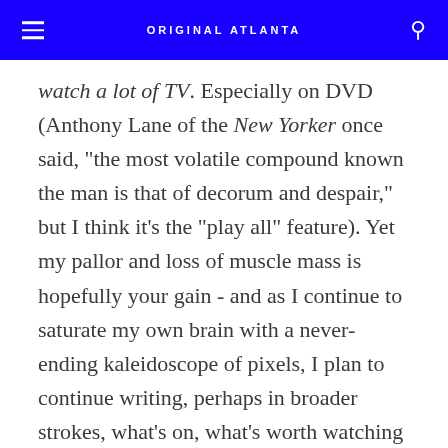ORIGINAL ATLANTA
watch a lot of TV. Especially on DVD (Anthony Lane of the New Yorker once said, "the most volatile compound known the man is that of decorum and despair," but I think it's the "play all" feature). Yet my pallor and loss of muscle mass is hopefully your gain - and as I continue to saturate my own brain with a never-ending kaleidoscope of pixels, I plan to continue writing, perhaps in broader strokes, what's on, what's worth watching